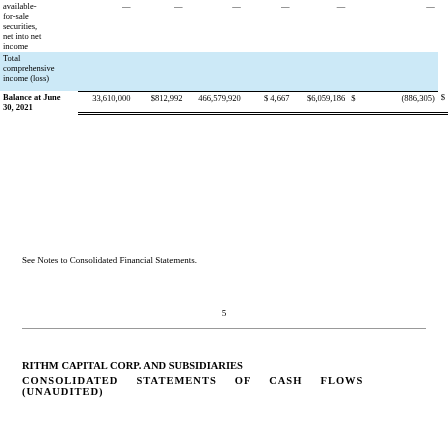|  | Shares | Amount | Additional Paid-in Capital | Retained Earnings | Accumulated OCI |  |  |
| --- | --- | --- | --- | --- | --- | --- | --- |
| available-for-sale securities, net into net income | — | — | — | — | — |  | — |
| Total comprehensive income (loss) |  |  |  |  |  |  |  |
| Balance at June 30, 2021 | 33,610,000 | $812,992 | 466,579,920 | $ 4,667 | $6,059,186 | $ | (886,305) | $ |
See Notes to Consolidated Financial Statements.
5
RITHM CAPITAL CORP. AND SUBSIDIARIES
CONSOLIDATED STATEMENTS OF CASH FLOWS (UNAUDITED)